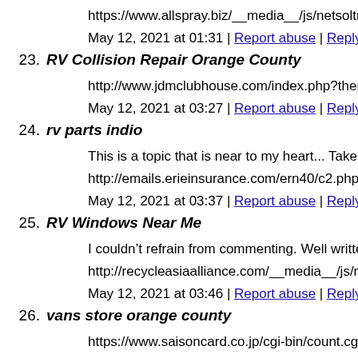https://www.allspray.biz/__media__/js/netsoltrademark.php?d=
May 12, 2021 at 01:31 | Report abuse | Reply
23. RV Collision Repair Orange County
http://www.jdmclubhouse.com/index.php?thememode=full;red
May 12, 2021 at 03:27 | Report abuse | Reply
24. rv parts indio
This is a topic that is near to my heart... Take care! Where are y
http://emails.erieinsurance.com/ern40/c2.php?ERIN/37662445
May 12, 2021 at 03:37 | Report abuse | Reply
25. RV Windows Near Me
I couldn’t refrain from commenting. Well written!
http://recycleasiaalliance.com/__media__/js/netsoltrademark.p
May 12, 2021 at 03:46 | Report abuse | Reply
26. vans store orange county
https://www.saisoncard.co.jp/cgi-bin/count.cgi?pal=632,632&